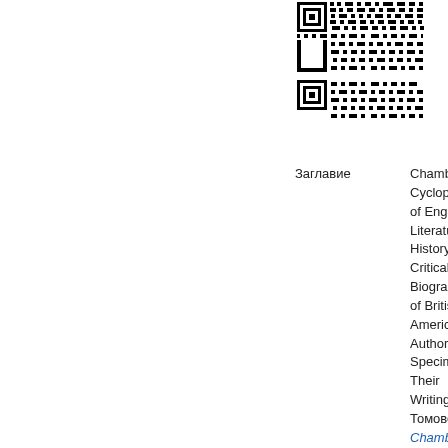[Figure (other): QR code in black and white]
Заглавие
Chambers' Cyclopaedia of English Literature: History, Critical and Biographical of British and American Authors, with Specimens of Their Writings, Томове 3-4. Chambers' Cyclopaedia of English Literature.